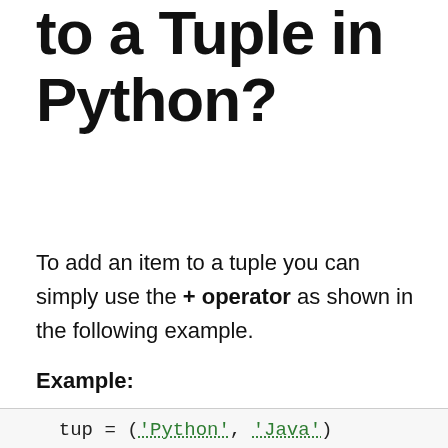to a Tuple in Python?
To add an item to a tuple you can simply use the + operator as shown in the following example.
Example:
tup = ('Python', 'Java')